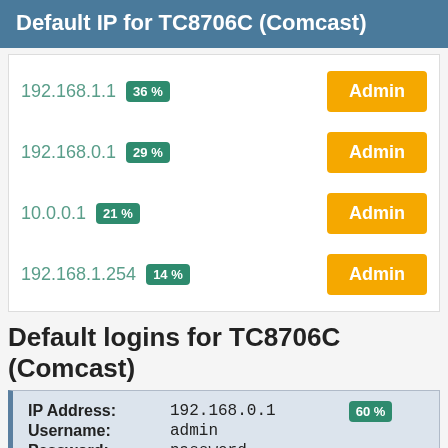Default IP for TC8706C (Comcast)
192.168.1.1 36%  Admin
192.168.0.1 29%  Admin
10.0.0.1 21%  Admin
192.168.1.254 14%  Admin
Default logins for TC8706C (Comcast)
| Field | Value | Pct |
| --- | --- | --- |
| IP Address: | 192.168.0.1 | 60 % |
| Username: | admin |  |
| Password: | password |  |